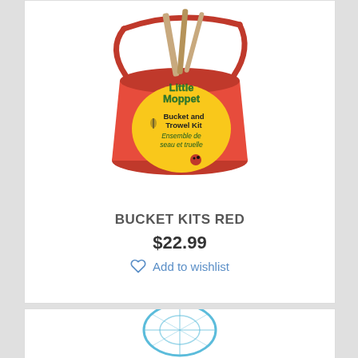[Figure (photo): Red metal bucket with yellow circular label reading 'Little Moppet Bucket and Trowel Kit / Ensemble de seau et truelle' with bee and ladybug graphics. Wooden handles stick out the top.]
BUCKET KITS RED
$22.99
Add to wishlist
[Figure (photo): Partial view of a blue mesh/net item at the bottom of the page.]